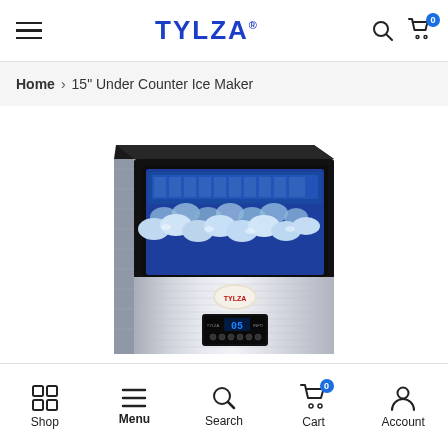TYLZA
Home > 15" Under Counter Ice Maker
[Figure (photo): TYLZA stainless steel under counter ice maker machine with a glass window display showing ice cubes inside, blue LED lighting, digital control panel showing '05', and TYLZA logo on the front panel.]
Shop  Menu  Search  Cart  Account